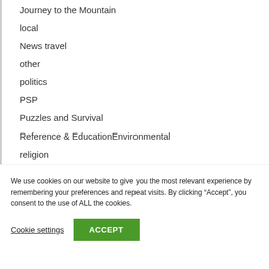Journey to the Mountain
local
News travel
other
politics
PSP
Puzzles and Survival
Reference & EducationEnvironmental
religion
We use cookies on our website to give you the most relevant experience by remembering your preferences and repeat visits. By clicking “Accept”, you consent to the use of ALL the cookies.
Cookie settings   ACCEPT